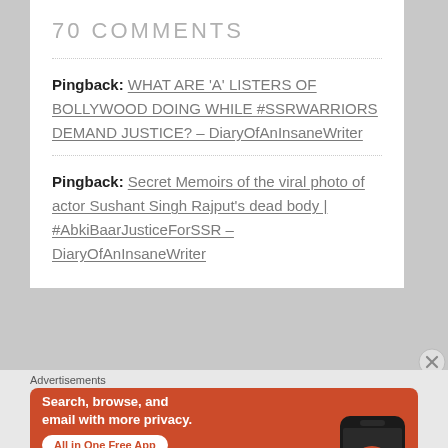70 COMMENTS
Pingback: WHAT ARE 'A' LISTERS OF BOLLYWOOD DOING WHILE #SSRWARRIORS DEMAND JUSTICE? – DiaryOfAnInsaneWriter
Pingback: Secret Memoirs of the viral photo of actor Sushant Singh Rajput's dead body | #AbkiBaarJusticeForSSR – DiaryOfAnInsaneWriter
[Figure (infographic): DuckDuckGo advertisement banner: orange background with white text 'Search, browse, and email with more privacy. All in One Free App' and a phone showing DuckDuckGo logo]